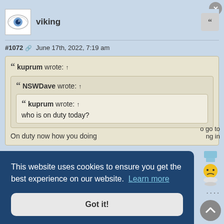viking
#1072 June 17th, 2022, 7:19 am
kuprum wrote: ↑
NSWDave wrote: ↑
kuprum wrote: ↑
who is on duty today?
On duty now how you doing
This website uses cookies to ensure you get the best experience on our website. Learn more
Got it!